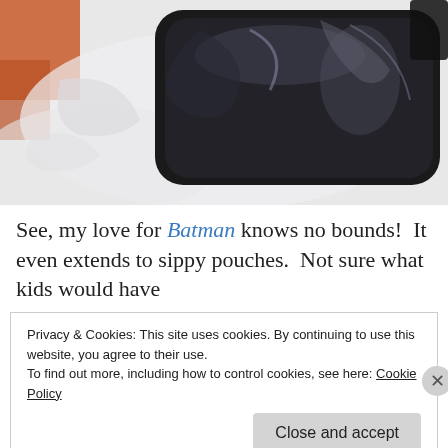[Figure (photo): A dark/black shiny object (likely a Batman-themed sippy pouch) wrapped in clear plastic wrap on a white background, with an orange object visible at top left.]
See, my love for Batman knows no bounds!  It even extends to sippy pouches.  Not sure what kids would have
Privacy & Cookies: This site uses cookies. By continuing to use this website, you agree to their use.
To find out more, including how to control cookies, see here: Cookie Policy